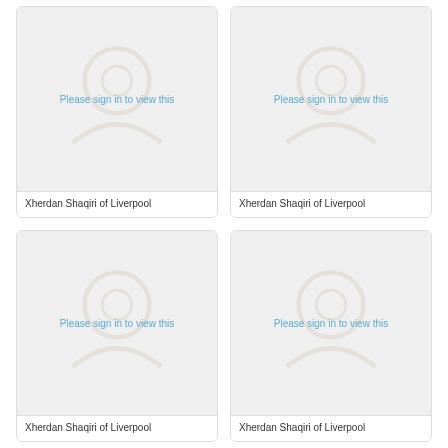[Figure (photo): Locked image placeholder with 'Please sign in to view this' text]
Xherdan Shaqiri of Liverpool
[Figure (photo): Locked image placeholder with 'Please sign in to view this' text]
Xherdan Shaqiri of Liverpool
[Figure (photo): Locked image placeholder with 'Please sign in to view this' text]
Xherdan Shaqiri of Liverpool
[Figure (photo): Locked image placeholder with 'Please sign in to view this' text]
Xherdan Shaqiri of Liverpool